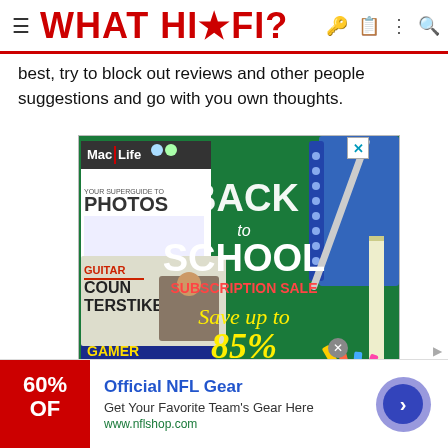WHAT HI-FI?
best, try to block out reviews and other people suggestions and go with you own thoughts.
[Figure (photo): Back to School Subscription Sale advertisement showing Mac Life, Guitar, Counterstrike, and Retro Gamer magazines on a green chalkboard background with school supplies. Text reads 'BACK to SCHOOL SUBSCRIPTION SALE Save up to 85% SUBSCRIBE TODAY!']
[Figure (infographic): NFL Shop advertisement banner showing '60% OFF' in red, 'Official NFL Gear' heading in blue, 'Get Your Favorite Team's Gear Here' description, 'www.nflshop.com' URL in green, and a navigation arrow button.]